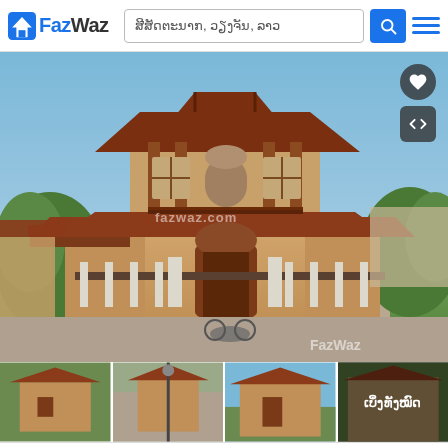FazWaz — ສີສັດຕະນາກ, ວຽງຈັນ, ລາວ
[Figure (photo): Two-storey traditional Lao-style house with dark wood roof structures, beige walls, ornate iron gate, surrounded by greenery. FazWaz watermark visible. Heart and arrow UI buttons in top right.]
[Figure (photo): Four thumbnail images of the same house property from different angles. The last thumbnail has Lao text overlay 'ເບິ່ງທັງໝົດ' (View all).]
Accept and Close ×
Your browser settings do not allow cross-site tracking for advertising. Click on this page to allow AdRoll to use cross-site tracking to tailor ads to you. Learn more or opt out of this AdRoll tracking by clicking here. This message only appears once.